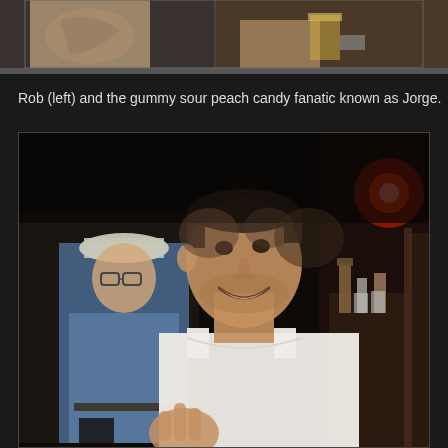[Figure (photo): Top portion showing two people at what appears to be a bar or party; one person with tattoos visible on chest, another holding a drink, both cropped at shoulders/neck level.]
Rob (left) and the gummy sour peach candy fanatic known as Jorge.
[Figure (photo): A smiling man in a white tank top making a hand gesture in the foreground, a man with glasses and a cap in a blue t-shirt stands behind him, dark bar environment with red light and bottles visible in background.]